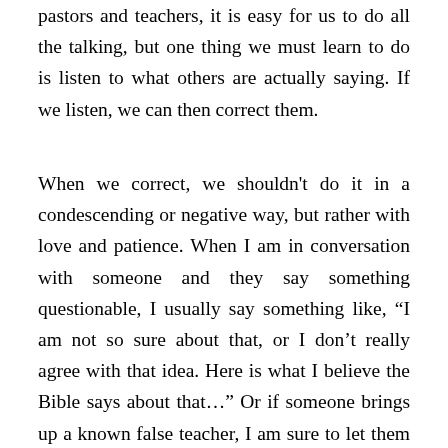pastors and teachers, it is easy for us to do all the talking, but one thing we must learn to do is listen to what others are actually saying. If we listen, we can then correct them.
When we correct, we shouldn't do it in a condescending or negative way, but rather with love and patience. When I am in conversation with someone and they say something questionable, I usually say something like, “I am not so sure about that, or I don’t really agree with that idea. Here is what I believe the Bible says about that…” Or if someone brings up a known false teacher, I am sure to let them know my concern with that person. In order to do that, however, we have to be clued into the popular false teachers and know why we